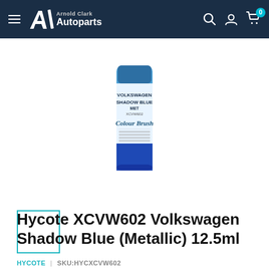Arnold Clark Autoparts
[Figure (photo): Hycote XCVW602 Volkswagen Shadow Blue Metallic 12.5ml colour brush touch-up paint product can, with blue and white label]
[Figure (photo): Thumbnail image of the product (selected state with teal border)]
Hycote XCVW602 Volkswagen Shadow Blue (Metallic) 12.5ml
HYCOTE | SKU:HYCXCVW602